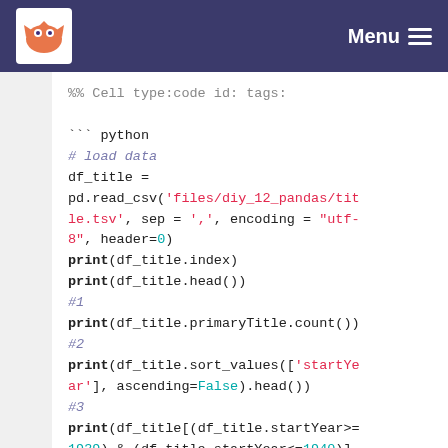Menu
%% Cell type:code id: tags:

``` python
# load data
df_title = pd.read_csv('files/diy_12_pandas/title.tsv', sep = ',', encoding = "utf-8", header=0)
print(df_title.index)
print(df_title.head())
#1
print(df_title.primaryTitle.count())
#2
print(df_title.sort_values(['startYear'], ascending=False).head())
#3
print(df_title[(df_title.startYear>=1939) & (df_title.startYear<=1940)]['originalTitle'])
#4